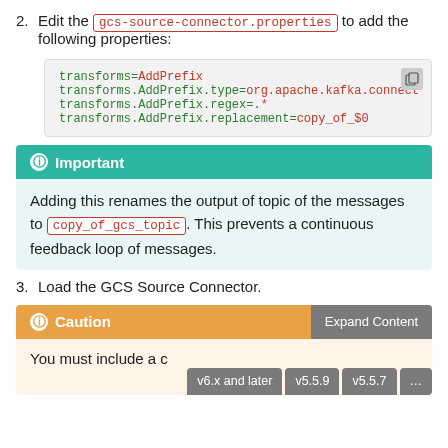2. Edit the gcs-source-connector.properties to add the following properties:
[Figure (screenshot): Code block showing: transforms=AddPrefix, transforms.AddPrefix.type=org.apache.kafka.connect..., transforms.AddPrefix.regex=.*, transforms.AddPrefix.replacement=copy_of_$0]
Important: Adding this renames the output of topic of the messages to copy_of_gcs_topic. This prevents a continuous feedback loop of messages.
3. Load the GCS Source Connector.
Caution (with Expand Content button). You must include a c... version tabs: v6.x and later, v5.5.9, v5.5.7, ...